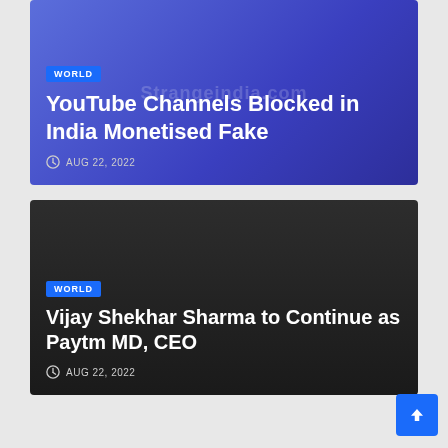[Figure (screenshot): News card with blue gradient background showing a WORLD badge]
YouTube Channels Blocked in India Monetised Fake
AUG 22, 2022
[Figure (screenshot): News card with dark background showing a WORLD badge]
Vijay Shekhar Sharma to Continue as Paytm MD, CEO
AUG 22, 2022